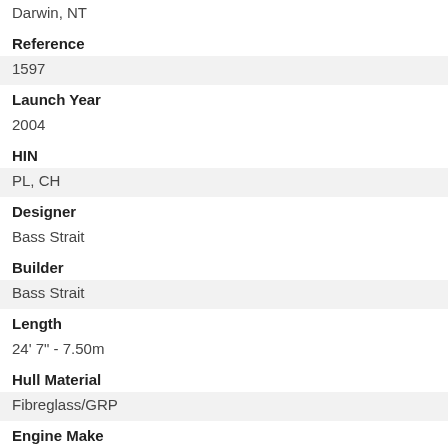Darwin, NT
Reference
1597
Launch Year
2004
HIN
PL, CH
Designer
Bass Strait
Builder
Bass Strait
Length
24' 7" - 7.50m
Hull Material
Fibreglass/GRP
Engine Make
Suzuki
Engine